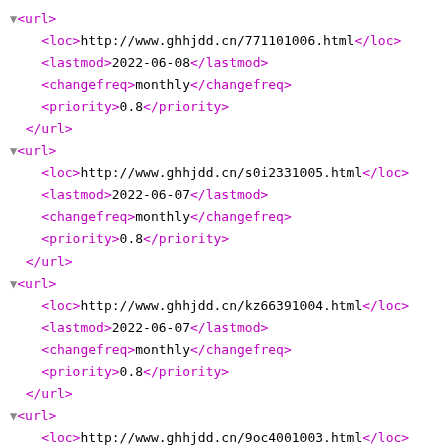▼<url>
  <loc>http://www.ghhjdd.cn/771101006.html</loc>
  <lastmod>2022-06-08</lastmod>
  <changefreq>monthly</changefreq>
  <priority>0.8</priority>
</url>
▼<url>
  <loc>http://www.ghhjdd.cn/s0i2331005.html</loc>
  <lastmod>2022-06-07</lastmod>
  <changefreq>monthly</changefreq>
  <priority>0.8</priority>
</url>
▼<url>
  <loc>http://www.ghhjdd.cn/kz66391004.html</loc>
  <lastmod>2022-06-07</lastmod>
  <changefreq>monthly</changefreq>
  <priority>0.8</priority>
</url>
▼<url>
  <loc>http://www.ghhjdd.cn/9oc4001003.html</loc>
  <lastmod>2022-06-06</lastmod>
  <changefreq>monthly</changefreq>
  <priority>0.8</priority>
</url>
▼<url>
  <loc>http://www.ghhjdd.cn/x231771002.html</loc>
  <lastmod>2022-06-05</lastmod>
  <changefreq>monthly</changefreq>
  <priority>0.8</priority>
</url>